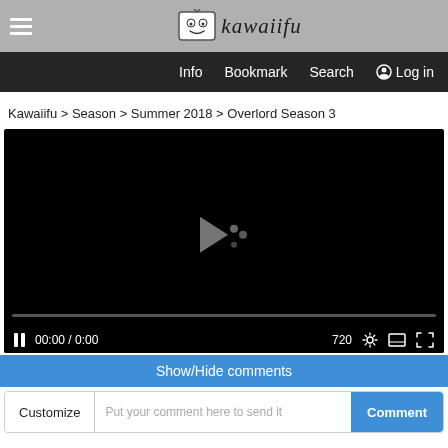[Figure (screenshot): Website header with hamburger menu icon and kawaiifu logo on gray background]
Info  Bookmark  Search  Log in
Kawaiifu > Season > Summer 2018 > Overlord Season 3
[Figure (screenshot): Video player showing black screen with loading/play indicator and controls: pause button, 00:00 / 0:00, 720p quality, settings, theater and fullscreen buttons]
Show/Hide comments
Customize  Put your comment here to send it  Comment